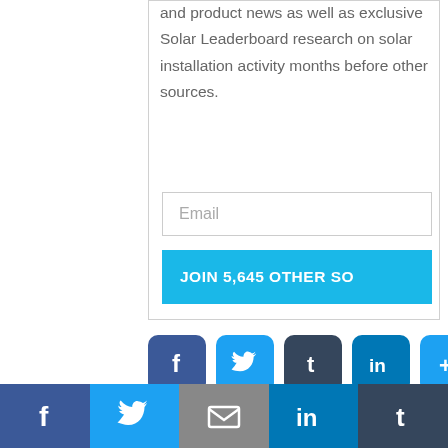and product news as well as exclusive Solar Leaderboard research on solar installation activity months before other sources.
Email
JOIN 5,645 OTHER SO
[Figure (infographic): Social sharing icons row: Facebook (blue), Twitter (light blue), Tumblr (dark navy), LinkedIn (blue), More/Plus (light blue) — rounded square buttons]
[Figure (infographic): Bottom social share bar with 5 sections: Facebook (dark blue), Twitter (light blue), Email/envelope (gray), LinkedIn (blue), Tumblr (dark navy)]